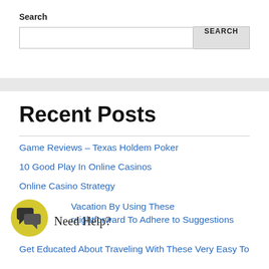Search
SEARCH (search widget)
Recent Posts
Game Reviews – Texas Holdem Poker
10 Good Play In Online Casinos
Online Casino Strategy
Win Your Vacation By Using These Straightforward To Adhere to Suggestions
Get Educated About Traveling With These Very Easy To…
[Figure (illustration): Yellow circular chat bubble icon with speech bubble icon inside, with 'Need Help?' text overlay in handwriting style font]